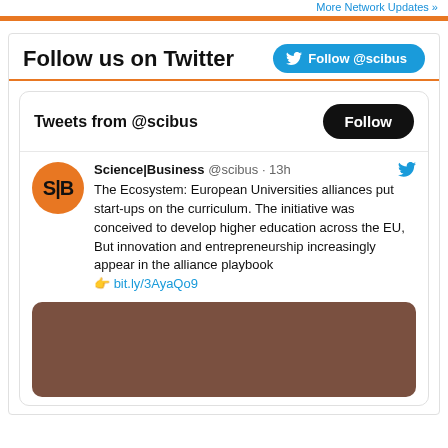More Network Updates »
Follow us on Twitter
Tweets from @scibus
Science|Business @scibus · 13h
The Ecosystem: European Universities alliances put start-ups on the curriculum. The initiative was conceived to develop higher education across the EU, But innovation and entrepreneurship increasingly appear in the alliance playbook 👉 bit.ly/3AyaQo9
[Figure (photo): Brown/dark reddish-brown image thumbnail at the bottom of the tweet]